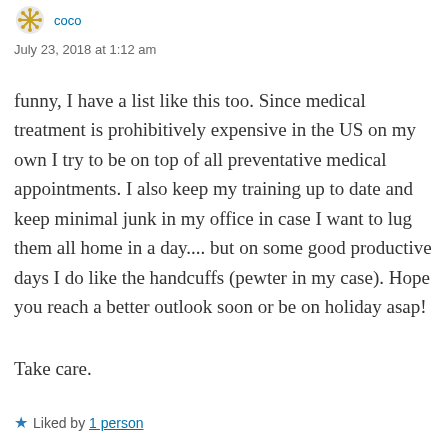July 23, 2018 at 1:12 am
funny, I have a list like this too. Since medical treatment is prohibitively expensive in the US on my own I try to be on top of all preventative medical appointments. I also keep my training up to date and keep minimal junk in my office in case I want to lug them all home in a day.... but on some good productive days I do like the handcuffs (pewter in my case). Hope you reach a better outlook soon or be on holiday asap!
Take care.
Liked by 1 person